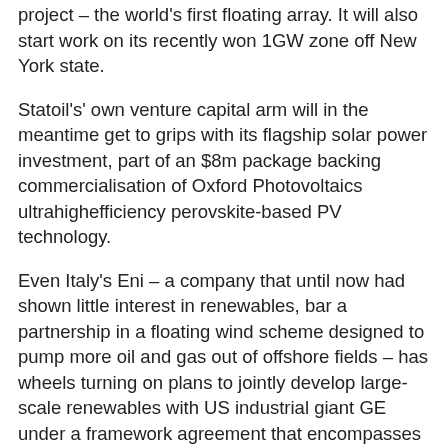project – the world's first floating array. It will also start work on its recently won 1GW zone off New York state.
Statoil's' own venture capital arm will in the meantime get to grips with its flagship solar power investment, part of an $8m package backing commercialisation of Oxford Photovoltaics ultrahighefficiency perovskite-based PV technology.
Even Italy's Eni – a company that until now had shown little interest in renewables, bar a partnership in a floating wind scheme designed to pump more oil and gas out of offshore fields – has wheels turning on plans to jointly develop large-scale renewables with US industrial giant GE under a framework agreement that encompasses onshore and offshore wind, as well as solar.
The shadow of stranded assets may be growing ever-longer, but for Big Oil investment prospects are also getting darker by the day. Fitch Ratings pointedly warned last year that failing to diversify into renewables could damage access to capital as global demand for petroleum slows.
Beyond bp, one can easily cite all the...